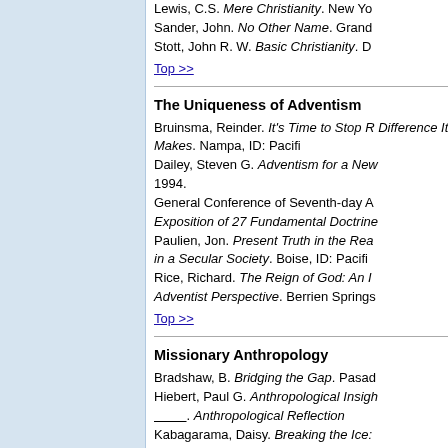Lewis, C.S. Mere Christianity. New Yo Sander, John. No Other Name. Grand Stott, John R. W. Basic Christianity. D
Top >>
The Uniqueness of Adventism
Bruinsma, Reinder. It's Time to Stop R Difference It Makes. Nampa, ID: Pacifi Dailey, Steven G. Adventism for a New 1994. General Conference of Seventh-day A Exposition of 27 Fundamental Doctrine Paulien, Jon. Present Truth in the Rea in a Secular Society. Boise, ID: Pacifi Rice, Richard. The Reign of God: An I Adventist Perspective. Berrien Springs
Top >>
Missionary Anthropology
Bradshaw, B. Bridging the Gap. Pasad Hiebert, Paul G. Anthropological Insigh ________. Anthropological Reflection Kabagarama, Daisy. Breaking the Ice: Boston: Allyn and Bacon, 1993.